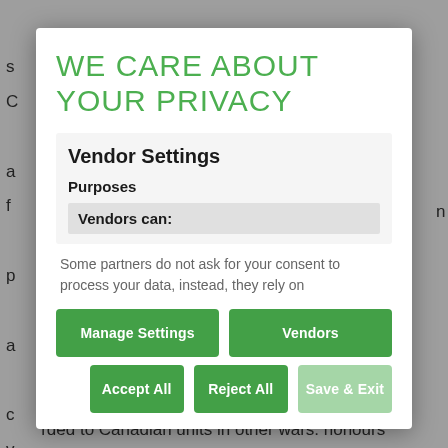can often be an indicator of poor leadership. During a s
WE CARE ABOUT YOUR PRIVACY
Vendor Settings
Purposes
Vendors can:
Some partners do not ask for your consent to process your data, instead, they rely on
Manage Settings
Vendors
Accept All
Reject All
Save & Exit
awarded to Canadian units in other wars: honours